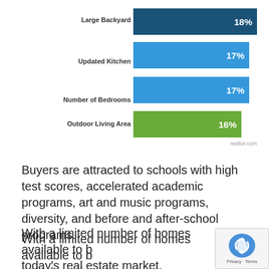[Figure (bar-chart): Home Buyer Preferences]
Buyers are attracted to schools with high test scores, accelerated academic programs, art and music programs, diversity, and before and after-school programs.
With a limited number of homes available to buy in today's real estate market, competition is fierce for homes in good school districts. Danielle Hale, Chief